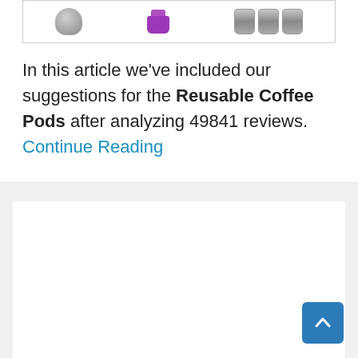[Figure (photo): Partial view of reusable coffee pods including a gray pod, a purple pod, and three stainless steel pods inside a bordered box]
In this article we’ve included our suggestions for the Reusable Coffee Pods after analyzing 49841 reviews. Continue Reading